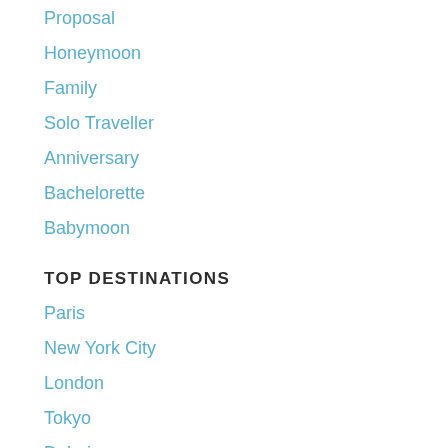Proposal
Honeymoon
Family
Solo Traveller
Anniversary
Bachelorette
Babymoon
TOP DESTINATIONS
Paris
New York City
London
Tokyo
Dubai
Rome